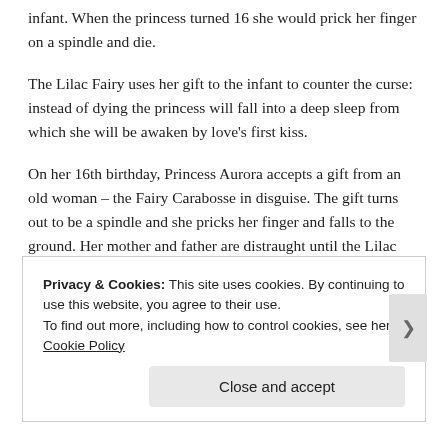infant. When the princess turned 16 she would prick her finger on a spindle and die.
The Lilac Fairy uses her gift to the infant to counter the curse: instead of dying the princess will fall into a deep sleep from which she will be awaken by love's first kiss.
On her 16th birthday, Princess Aurora accepts a gift from an old woman – the Fairy Carabosse in disguise. The gift turns out to be a spindle and she pricks her finger and falls to the ground. Her mother and father are distraught until the Lilac Fairy reminds them that she will not die, but will sleep until a prince awakes her with a kiss. After this the Lilac Fairy puts the entire kingdom under a sleeping spell so
Privacy & Cookies: This site uses cookies. By continuing to use this website, you agree to their use.
To find out more, including how to control cookies, see here: Cookie Policy
Close and accept